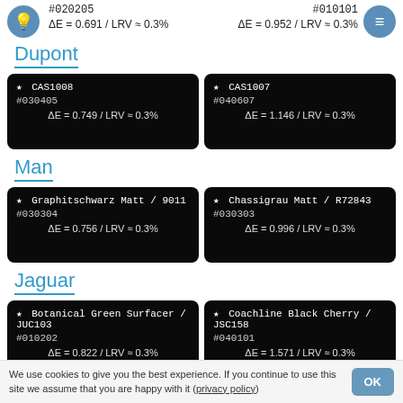#020205 ΔE = 0.691 / LRV ≈ 0.3%
#010101 ΔE = 0.952 / LRV ≈ 0.3%
Dupont
| ★ CAS1008 #030405 ΔE = 0.749 / LRV ≈ 0.3% | ★ CAS1007 #040607 ΔE = 1.146 / LRV ≈ 0.3% |
Man
| ★ Graphitschwarz Matt / 9011 #030304 ΔE = 0.756 / LRV ≈ 0.3% | ★ Chassigrau Matt / R72843 #030303 ΔE = 0.996 / LRV ≈ 0.3% |
Jaguar
| ★ Botanical Green Surfacer / JUC103 #010202 ΔE = 0.822 / LRV ≈ 0.3% | ★ Coachline Black Cherry / JSC158 #040101 ΔE = 1.571 / LRV ≈ 0.3% |
We use cookies to give you the best experience. If you continue to use this site we assume that you are happy with it (privacy policy)